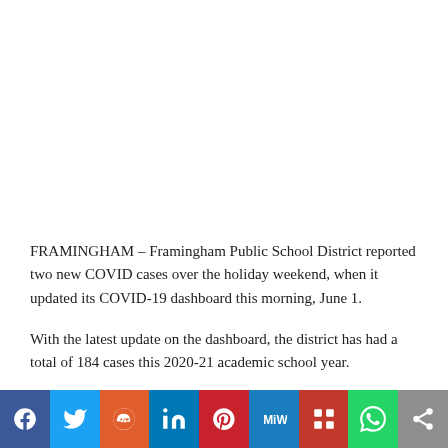FRAMINGHAM – Framingham Public School District reported two new COVID cases over the holiday weekend, when it updated its COVID-19 dashboard this morning, June 1.
With the latest update on the dashboard, the district has had a total of 184 cases this 2020-21 academic school year.